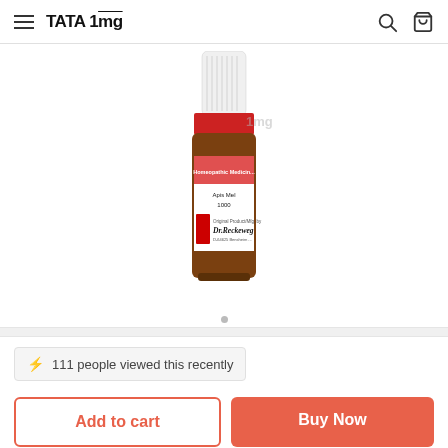TATA 1mg
[Figure (photo): Dr. Reckeweg Apis Mel 1000 homeopathic medicine dilution bottle with white dropper cap and red band label]
111 people viewed this recently
Add to cart
Buy Now